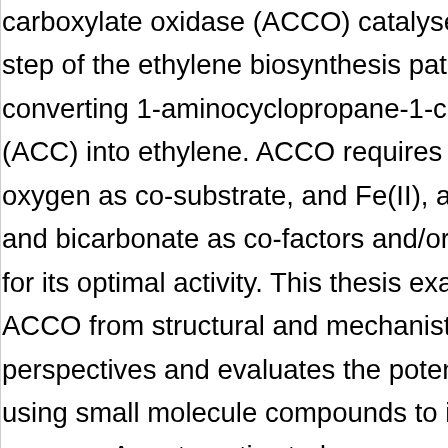carboxylate oxidase (ACCO) catalyses the step of the ethylene biosynthesis pathway, converting 1-aminocyclopropane-1-carbox (ACC) into ethylene. ACCO requires molec oxygen as co-substrate, and Fe(II), ascorb and bicarbonate as co-factors and/or activ for its optimal activity. This thesis examines ACCO from structural and mechanistic perspectives and evaluates the potential of using small molecule compounds to inhibit enzyme. A systematic study was conducted evaluate the oligomeric states of ACCO in solution and the relation to its enzymatic activity. Recombinant ACCO from Petunia hybrida, Arabidopsis thaliana and Malus domestica were studied. By using analytical size-exclusion chromatography (SEC), SEC coupled with multi-angle light scattering (S MALS) and native polyacrylamide gel electrophoresis (PAGE), it was found that hybrida ACCO and M. domestica ACCO m exist as both monomer and dimer in solut